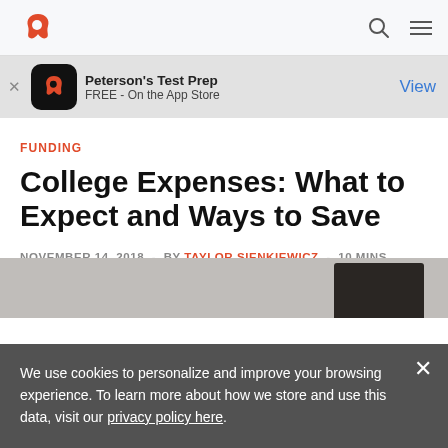Peterson's Test Prep — FREE - On the App Store
FUNDING
College Expenses: What to Expect and Ways to Save
NOVEMBER 14, 2018 - BY TAYLOR SIENKIEWICZ - 10 MINS READ
[Figure (photo): Graduation cap photo partially visible at bottom]
We use cookies to personalize and improve your browsing experience. To learn more about how we store and use this data, visit our privacy policy here.